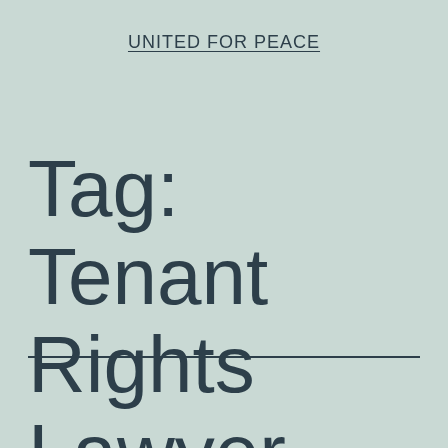UNITED FOR PEACE
Tag: Tenant Rights Lawyer